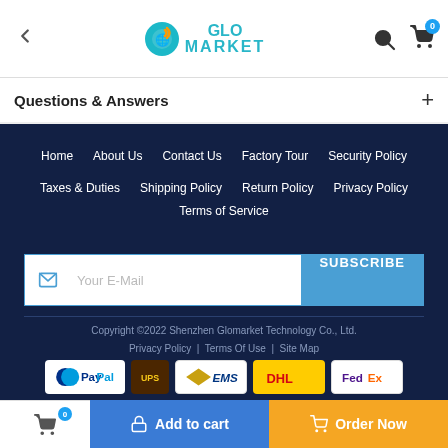← GloMarket [logo] [search] [cart 0]
Questions & Answers +
Home   About Us   Contact Us   Factory Tour   Security Policy   Taxes & Duties   Shipping Policy   Return Policy   Privacy Policy   Terms of Service
Your E-Mail  SUBSCRIBE
Copyright ©2022 Shenzhen Glomarket Technology Co., Ltd.
Privacy Policy  |  Terms Of Use  |  Site Map
[Figure (logo): Payment logos: PayPal, UPS, EMS, DHL, FedEx]
[cart 0]  Add to cart   Order Now